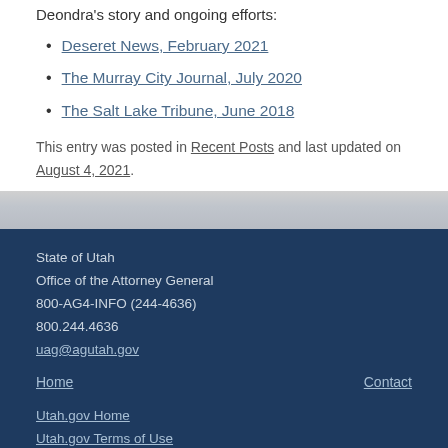Deondra's story and ongoing efforts:
Deseret News, February 2021
The Murray City Journal, July 2020
The Salt Lake Tribune, June 2018
This entry was posted in Recent Posts and last updated on August 4, 2021.
State of Utah
Office of the Attorney General
800-AG4-INFO (244-4636)
800.244.4636
uag@agutah.gov

Home    Contact

Utah.gov Home
Utah.gov Terms of Use
Utah.gov Privacy Policy
Utah.gov Accessibility Policy
Translate Utah.gov